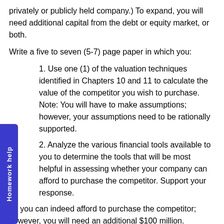privately or publicly held company.) To expand, you will need additional capital from the debt or equity market, or both.
Write a five to seven (5-7) page paper in which you:
1. Use one (1) of the valuation techniques identified in Chapters 10 and 11 to calculate the value of the competitor you wish to purchase. Note: You will have to make assumptions; however, your assumptions need to be rationally supported.
2. Analyze the various financial tools available to you to determine the tools that will be most helpful in assessing whether your company can afford to purchase the competitor. Support your response.
he you can indeed afford to purchase the competitor; however, you will need an additional $100 million.
3. Examine the options available to you to